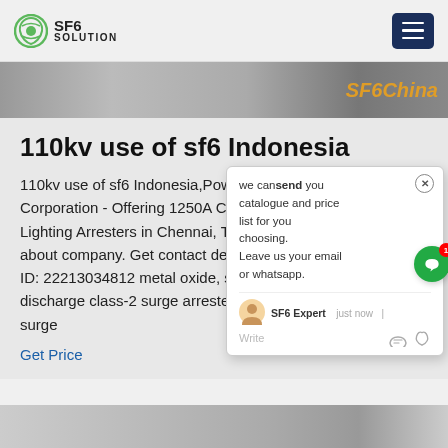SF6 SOLUTION
[Figure (screenshot): Website banner image with SF6China watermark text in orange]
110kv use of sf6 Indonesia
110kv use of sf6 Indonesia,Power C... Corporation - Offering 1250A Cromp... Lighting Arresters in Chennai, Tamil... about company. Get contact de...s ID: 22213034812 metal oxide, static... discharge class-2 surge arresters in 1994. These surge
Get Price
[Figure (screenshot): Chat popup with message: we cansend you catalogue and price list for you choosing. Leave us your email or whatsapp. SF6 Expert just now | Write]
[Figure (photo): Bottom image showing ceiling/industrial setting]